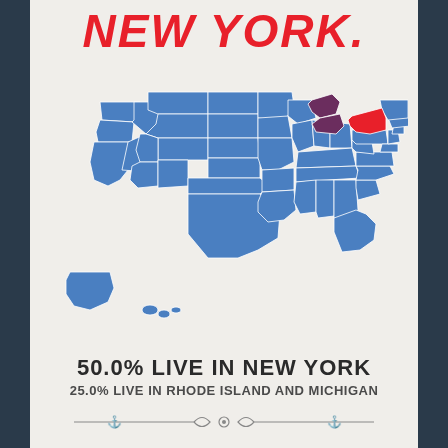NEW YORK.
[Figure (map): USA map with all states shown in blue, New York state highlighted in red, Michigan state highlighted in dark purple/maroon. Alaska and Hawaii shown as insets.]
50.0% LIVE IN NEW YORK
25.0% LIVE IN RHODE ISLAND AND MICHIGAN
[Figure (illustration): Decorative footer divider with ornamental scroll/anchor design]